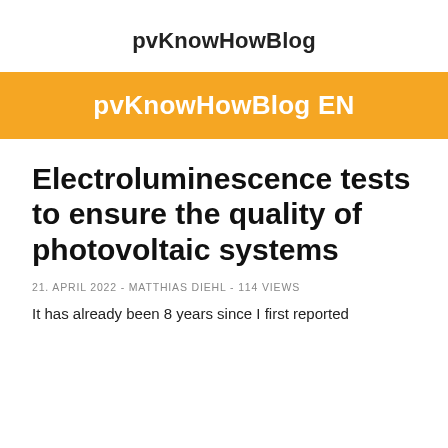pvKnowHowBlog
pvKnowHowBlog EN
Electroluminescence tests to ensure the quality of photovoltaic systems
21. APRIL 2022 - MATTHIAS DIEHL - 114 VIEWS
It has already been 8 years since I first reported